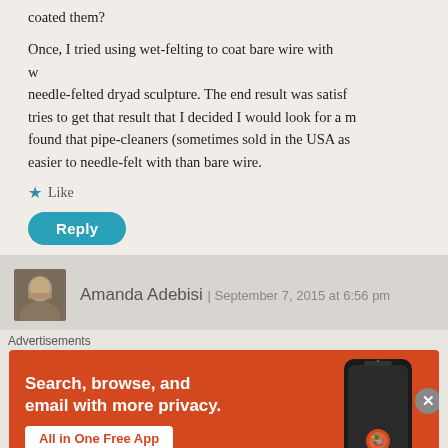coated them?
Once, I tried using wet-felting to coat bare wire with w... needle-felted dryad sculpture. The end result was satisf... tries to get that result that I decided I would look for a m... found that pipe-cleaners (sometimes sold in the USA as... easier to needle-felt with than bare wire.
★ Like
Reply
Amanda Adebisi | September 7, 2015 at 6:56 pm
Yes I often use pipe cleaners too but for the tinies... thin as possible. You can thin out the pipe cl...
Advertisements
[Figure (screenshot): DuckDuckGo advertisement banner with orange background, showing 'Search, browse, and email with more privacy. All in One Free App' with a phone graphic and DuckDuckGo logo.]